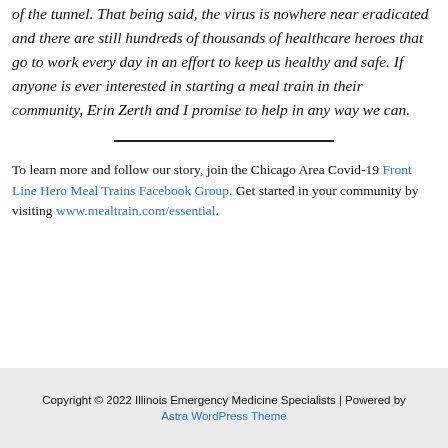of the tunnel. That being said, the virus is nowhere near eradicated and there are still hundreds of thousands of healthcare heroes that go to work every day in an effort to keep us healthy and safe. If anyone is ever interested in starting a meal train in their community, Erin Zerth and I promise to help in any way we can.
To learn more and follow our story, join the Chicago Area Covid-19 Front Line Hero Meal Trains Facebook Group. Get started in your community by visiting www.mealtrain.com/essential.
Copyright © 2022 Illinois Emergency Medicine Specialists | Powered by Astra WordPress Theme